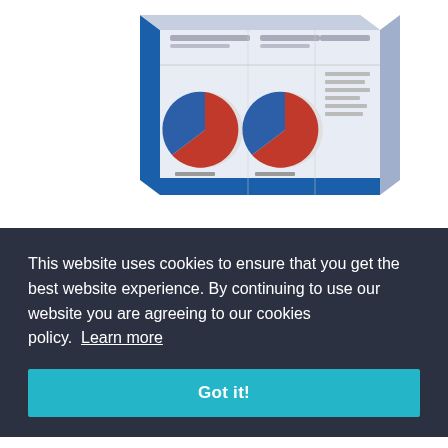[Figure (illustration): 3D box/book product image showing a report with pie charts, displayed at top of page]
[Figure (illustration): PMO Manual banner with 'pmm' logo mark, 'PMO MANUAL' title in black and blue, and subtitle 'DO YOU WANT TO SET-UP A PMO']
This website uses cookies to ensure that you get the best website experience. By continuing to use our website you are agreeing to our cookies policy. Learn more
Got it!